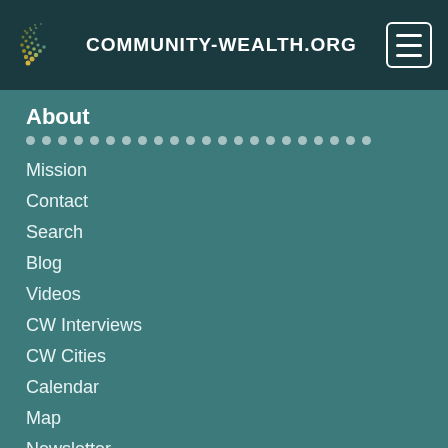COMMUNITY-WEALTH.ORG
About
Mission
Contact
Search
Blog
Videos
CW Interviews
CW Cities
Calendar
Map
Newsletter
Resources
Strategies and Models
Support Organizations